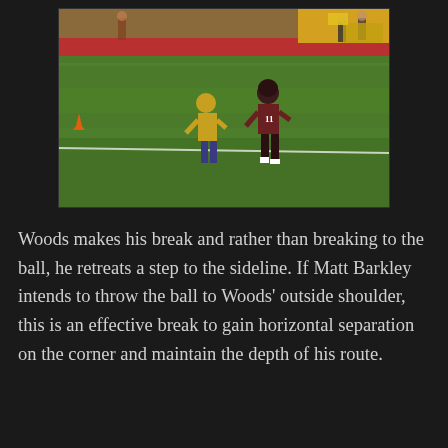[Figure (photo): Football game action shot showing two players on a grass field — one in a yellow/gold USC uniform and one wearing number 11 in a dark maroon/burgundy uniform — during a route/coverage play. Red stadium sideline elements and other people visible in the background.]
Woods makes his break and rather than breaking to the ball, he retreats a step to the sideline. If Matt Barkley intends to throw the ball to Woods' outside shoulder, this is an effective break to gain horizontal separation on the corner and maintain the depth of his route.